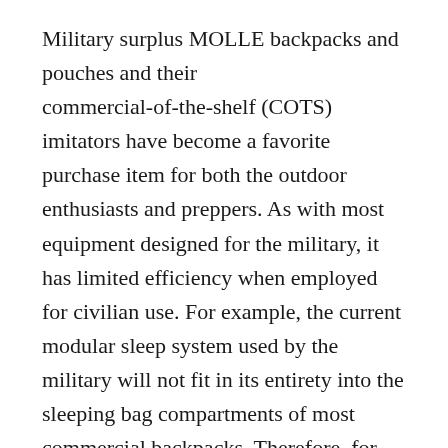Military surplus MOLLE backpacks and pouches and their commercial-of-the-shelf (COTS) imitators have become a favorite purchase item for both the outdoor enthusiasts and preppers. As with most equipment designed for the military, it has limited efficiency when employed for civilian use. For example, the current modular sleep system used by the military will not fit in its entirety into the sleeping bag compartments of most commercial backpacks. Therefore, for the ultralight backpackers and adventure racers, military surplus, such as sleeping bags, are avoided. However, MOLLE backpacks and pouches are purchased and used by a wide